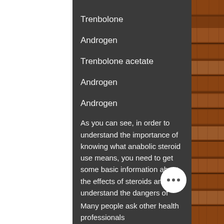Trenbolone
Androgen
Trenbolone acetate
Androgen
Androgen
As you can see, in order to understand the importance of knowing what anabolic steroid use means, you need to get some basic information about the effects of steroids and understand the dangers of these substances, sarms for sale paypal9.
But how do you know?
Many people ask other health professionals